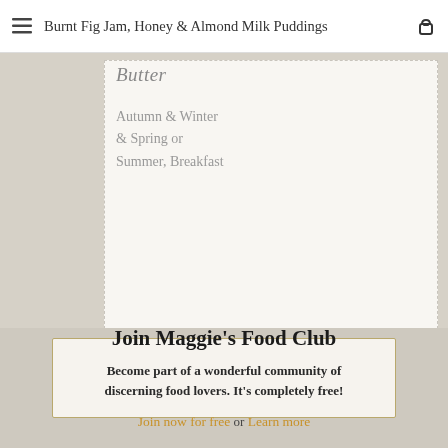Burnt Fig Jam, Honey & Almond Milk Puddings
Butter
Autumn & Winter & Spring or Summer, Breakfast
Join Maggie's Food Club
Become part of a wonderful community of discerning food lovers. It's completely free!
Join now for free or Learn more